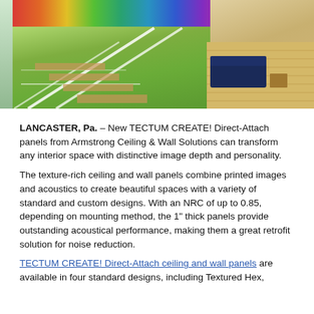[Figure (photo): Interior architectural photo showing a modern space with a colorful mural/wallpaper with tropical leaf patterns, green staircase with glass railings on the left, and a lounge/seating area with wooden floors and navy furniture on the right.]
LANCASTER, Pa. – New TECTUM CREATE! Direct-Attach panels from Armstrong Ceiling & Wall Solutions can transform any interior space with distinctive image depth and personality.
The texture-rich ceiling and wall panels combine printed images and acoustics to create beautiful spaces with a variety of standard and custom designs. With an NRC of up to 0.85, depending on mounting method, the 1" thick panels provide outstanding acoustical performance, making them a great retrofit solution for noise reduction.
TECTUM CREATE! Direct-Attach ceiling and wall panels are available in four standard designs, including Textured Hex,